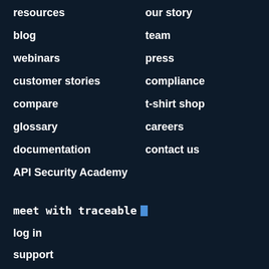resources
our story
blog
team
webinars
press
customer stories
compliance
compare
t-shirt shop
glossary
careers
documentation
contact us
API Security Academy
meet with traceable _
log in
support